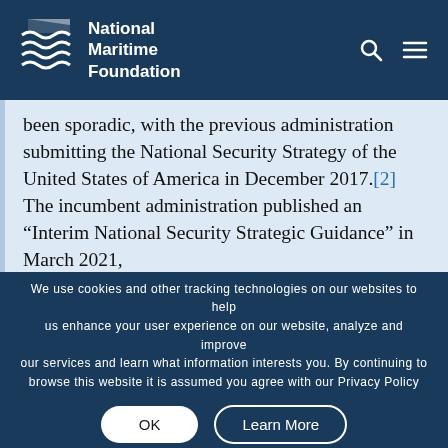National Maritime Foundation
been sporadic, with the previous administration submitting the National Security Strategy of the United States of America in December 2017.[2]  The incumbent administration published an “Interim National Security Strategic Guidance” in March 2021,
We use cookies and other tracking technologies on our websites to help us enhance your user experience on our website, analyze and improve our services and learn what information interests you. By continuing to browse this website it is assumed you agree with our Privacy Policy
OK
Learn More